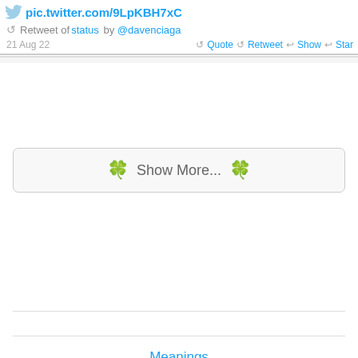pic.twitter.com/9LpKBH7xC
Retweet of status by @davenciaga
21 Aug 22  Quote  Retweet  Show  Star
🍀 Show More... 🍀
Meanings
Recent Votes